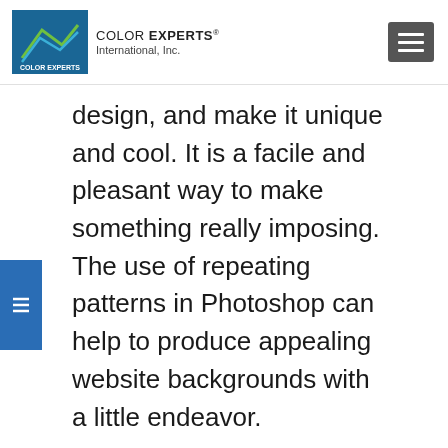COLOR EXPERTS International, Inc.
design, and make it unique and cool. It is a facile and pleasant way to make something really imposing. The use of repeating patterns in Photoshop can help to produce appealing website backgrounds with a little endeavor.
Author: Brusheezy.com
Check License:
https://www.brusheezy.com/brushes/16460-wood-brushes